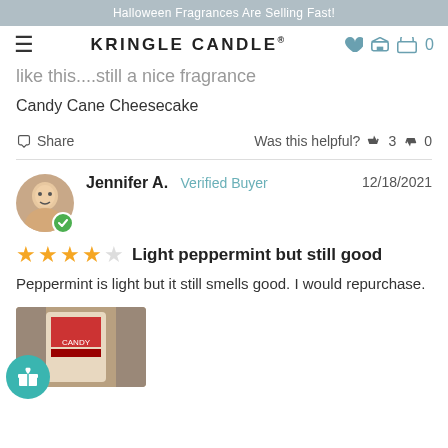Halloween Fragrances Are Selling Fast!
KRINGLE CANDLE®
like this....still a nice fragrance
Candy Cane Cheesecake
Share   Was this helpful?  👍 3  👎 0
Jennifer A.  Verified Buyer  12/18/2021
⭐⭐⭐⭐☆  Light peppermint but still good
Peppermint is light but it still smells good. I would repurchase.
[Figure (photo): Review photo showing a candle product]